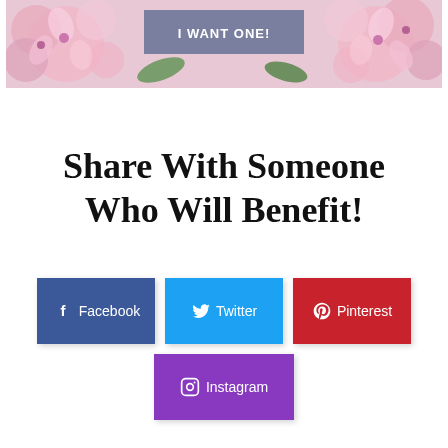[Figure (photo): Pink cherry blossom flowers image with a grey/blue 'I WANT ONE!' button overlay in the center top]
Share With Someone Who Will Benefit!
[Figure (infographic): Social sharing buttons: Facebook (dark blue), Twitter (light blue), Pinterest (red), Instagram (purple)]